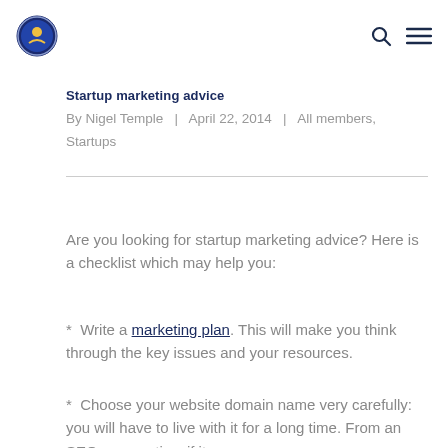Logo and navigation icons
Startup marketing advice
By Nigel Temple | April 22, 2014 | All members, Startups
Are you looking for startup marketing advice? Here is a checklist which may help you:
* Write a marketing plan. This will make you think through the key issues and your resources.
* Choose your website domain name very carefully: you will have to live with it for a long time. From an SEO perspective, if it